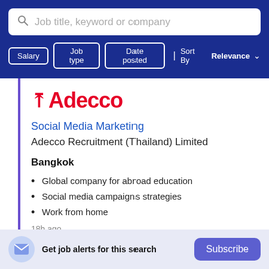Job title, keyword or company
Salary | Job type | Date posted | Sort By Relevance
[Figure (logo): Adecco company logo in red]
Social Media Marketing
Adecco Recruitment (Thailand) Limited
Bangkok
Global company for abroad education
Social media campaigns strategies
Work from home
18h ago
Get job alerts for this search